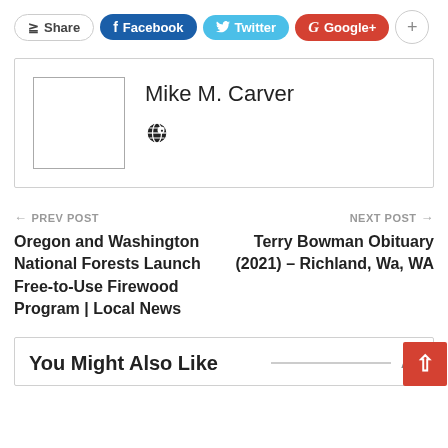[Figure (screenshot): Social share bar with Share, Facebook, Twitter, Google+ buttons and a plus button]
[Figure (screenshot): Author card showing Mike M. Carver with empty avatar placeholder and globe icon]
← PREV POST
Oregon and Washington National Forests Launch Free-to-Use Firewood Program | Local News
NEXT POST →
Terry Bowman Obituary (2021) – Richland, Wa, WA
You Might Also Like    All